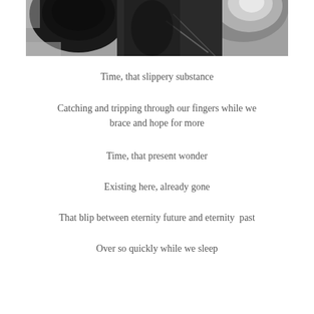[Figure (photo): Black and white photograph showing what appears to be close-up mechanical or kitchen objects, partially cropped at the top of the page]
Time, that slippery substance
Catching and tripping through our fingers while we brace and hope for more
Time, that present wonder
Existing here, already gone
That blip between eternity future and eternity  past
Over so quickly while we sleep